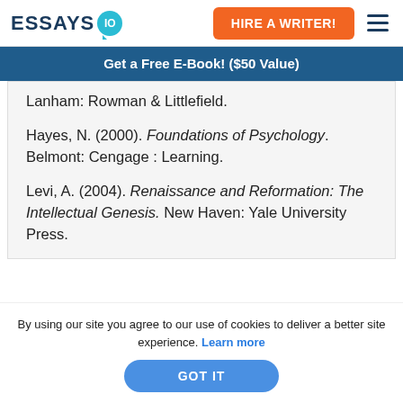[Figure (logo): Essays.io logo with teal speech bubble icon containing '10']
[Figure (other): Orange 'HIRE A WRITER!' button and hamburger menu icon]
Get a Free E-Book! ($50 Value)
Lanham: Rowman & Littlefield.
Hayes, N. (2000). Foundations of Psychology. Belmont: Cengage : Learning.
Levi, A. (2004). Renaissance and Reformation: The Intellectual Genesis. New Haven: Yale University Press.
By using our site you agree to our use of cookies to deliver a better site experience. Learn more
GOT IT